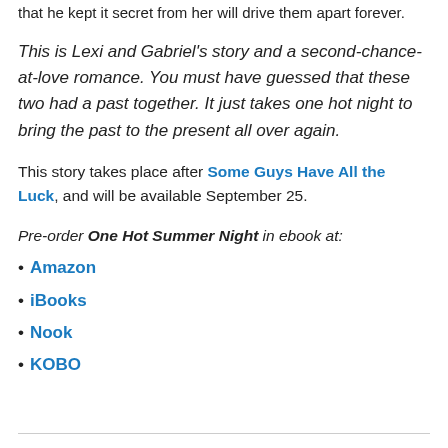that he kept it secret from her will drive them apart forever.
This is Lexi and Gabriel's story and a second-chance-at-love romance. You must have guessed that these two had a past together. It just takes one hot night to bring the past to the present all over again.
This story takes place after Some Guys Have All the Luck, and will be available September 25.
Pre-order One Hot Summer Night in ebook at:
Amazon
iBooks
Nook
KOBO